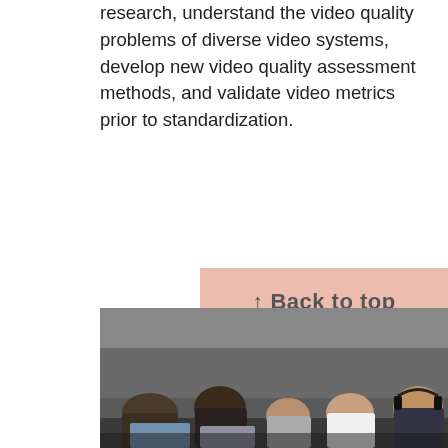research, understand the video quality problems of diverse video systems, develop new video quality assessment methods, and validate video metrics prior to standardization.
To facilitate and foster collaborative research and development in the area of consumer video processing and quality measurement, ITS hosts the Consumer Digital Video Library (CDVL). Where licensing terms permit, ITS subjective video quality datasets and studio quality video sequences are openly shared on CDVL.
[Figure (photo): Photo of people seated at a conference table, appearing to be in a meeting or working session. Multiple people visible, some with headphones.]